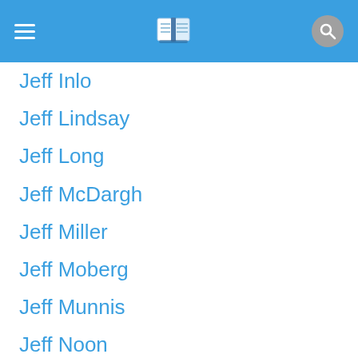Navigation header with menu icon, book icon, and search button
Jeff Inlo
Jeff Lindsay
Jeff Long
Jeff McDargh
Jeff Miller
Jeff Moberg
Jeff Munnis
Jeff Noon
Jeff Ping
Jeff Rose-Martland
Jeff Roulston
Jeff Shaara
Jeff Shanley
Jeff Sherwood